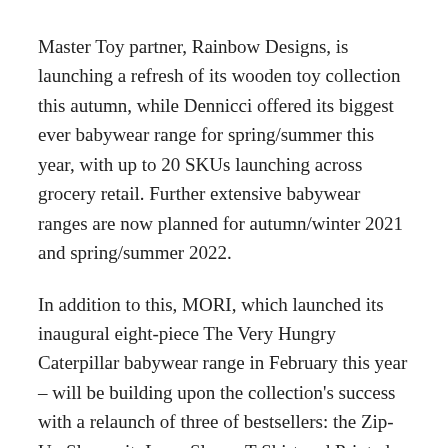Master Toy partner, Rainbow Designs, is launching a refresh of its wooden toy collection this autumn, while Dennicci offered its biggest ever babywear range for spring/summer this year, with up to 20 SKUs launching across grocery retail. Further extensive babywear ranges are now planned for autumn/winter 2021 and spring/summer 2022.
In addition to this, MORI, which launched its inaugural eight-piece The Very Hungry Caterpillar babywear range in February this year – will be building upon the collection's success with a relaunch of three of bestsellers: the Zip-Up Sleepsuit, Long Sleeve T-Shirt and Printed Pyjamas, as well as the launch of two new sweatshirts this autumn.
Smiffy's is working on a new The Very Hungry Caterpillar range of paper partyware using the brand's new Love Your Planet style